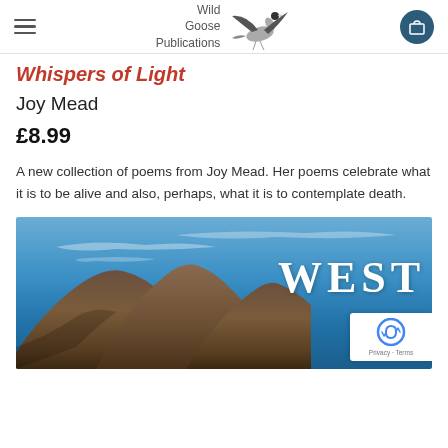Wild Goose Publications
Whispers of Light
Joy Mead
£8.99
A new collection of poems from Joy Mead. Her poems celebrate what it is to be alive and also, perhaps, what it is to contemplate death.
[Figure (illustration): Book cover showing mountains under a blue sky with the word WEST in large white letters, with a reCAPTCHA Privacy/Terms badge overlay in the bottom right corner.]